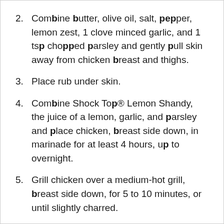2. Combine butter, olive oil, salt, pepper, lemon zest, 1 clove minced garlic, and 1 tsp chopped parsley and gently pull skin away from chicken breast and thighs.
3. Place rub under skin.
4. Combine Shock Top® Lemon Shandy, the juice of a lemon, garlic, and parsley and place chicken, breast side down, in marinade for at least 4 hours, up to overnight.
5. Grill chicken over a medium-hot grill, breast side down, for 5 to 10 minutes, or until slightly charred.
6. Flip chicken over (breast side up) and grill